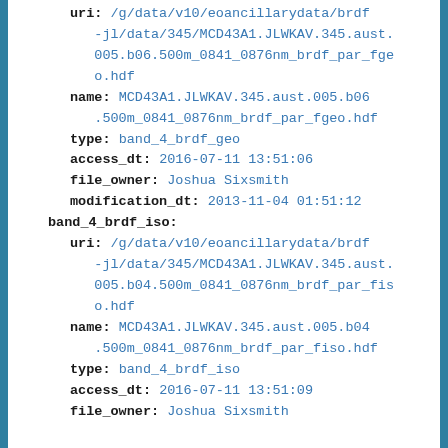uri: /g/data/v10/eoancillarydata/brdf-jl/data/345/MCD43A1.JLWKAV.345.aust.005.b06.500m_0841_0876nm_brdf_par_fgeo.hdf
name: MCD43A1.JLWKAV.345.aust.005.b06.500m_0841_0876nm_brdf_par_fgeo.hdf
type: band_4_brdf_geo
access_dt: 2016-07-11 13:51:06
file_owner: Joshua Sixsmith
modification_dt: 2013-11-04 01:51:12
band_4_brdf_iso:
uri: /g/data/v10/eoancillarydata/brdf-jl/data/345/MCD43A1.JLWKAV.345.aust.005.b04.500m_0841_0876nm_brdf_par_fiso.hdf
name: MCD43A1.JLWKAV.345.aust.005.b04.500m_0841_0876nm_brdf_par_fiso.hdf
type: band_4_brdf_iso
access_dt: 2016-07-11 13:51:09
file_owner: Joshua Sixsmith